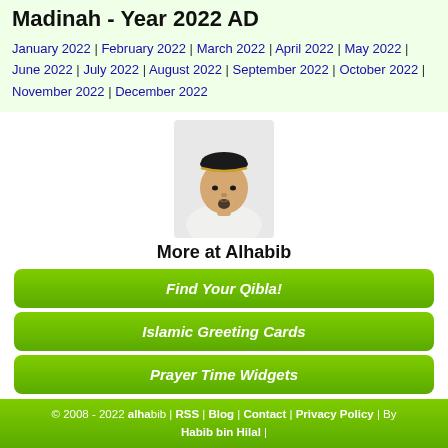Madinah - Year 2022 AD
January 2022 | February 2022 | March 2022 | April 2022 | May 2022 | June 2022 | July 2022 | August 2022 | September 2022 | October 2022 | November 2022 | December 2022
[Figure (photo): Portrait photo of a man wearing a traditional black Islamic cap with gold trim and white clothing, with a goatee beard]
More at Alhabib
Find Your Qibla!
Islamic Greeting Cards
Prayer Time Widgets
© 2008 - 2022 alhabib | RSS | Blog | Contact | Privacy Policy | By Habib bin Hilal |